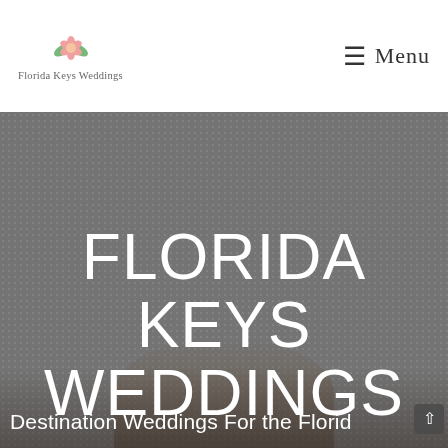[Figure (logo): Florida Keys Weddings logo with pink flower icon above the text]
≡ Menu
[Figure (photo): Hero banner photo with dark gray overlaid background showing a couple silhouette at the bottom, dotted overlay pattern]
FLORIDA KEYS WEDDINGS
Destination Weddings For the Florid